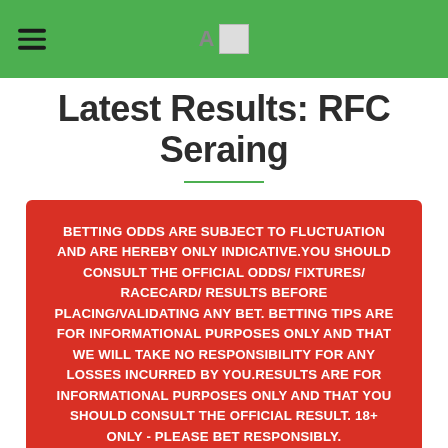Latest Results: RFC Seraing
Latest Results: RFC Seraing
BETTING ODDS ARE SUBJECT TO FLUCTUATION AND ARE HEREBY ONLY INDICATIVE.YOU SHOULD CONSULT THE OFFICIAL ODDS/ FIXTURES/ RACECARD/ RESULTS BEFORE PLACING/VALIDATING ANY BET. BETTING TIPS ARE FOR INFORMATIONAL PURPOSES ONLY AND THAT WE WILL TAKE NO RESPONSIBILITY FOR ANY LOSSES INCURRED BY YOU.RESULTS ARE FOR INFORMATIONAL PURPOSES ONLY AND THAT YOU SHOULD CONSULT THE OFFICIAL RESULT. 18+ ONLY - PLEASE BET RESPONSIBLY.